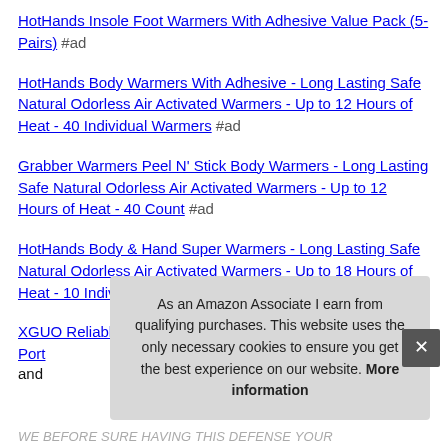HotHands Insole Foot Warmers With Adhesive Value Pack (5-Pairs) #ad
HotHands Body Warmers With Adhesive - Long Lasting Safe Natural Odorless Air Activated Warmers - Up to 12 Hours of Heat - 40 Individual Warmers #ad
Grabber Warmers Peel N' Stick Body Warmers - Long Lasting Safe Natural Odorless Air Activated Warmers - Up to 12 Hours of Heat - 40 Count #ad
HotHands Body & Hand Super Warmers - Long Lasting Safe Natural Odorless Air Activated Warmers - Up to 18 Hours of Heat - 10 Individual Warmers #ad
XGUO Reliable Rechargeable Hand Warmer, 5200mAh Port… and…
As an Amazon Associate I earn from qualifying purchases. This website uses the only necessary cookies to ensure you get the best experience on our website. More information
WE BEFORE SURE HAVING THIS DEFENSE YOUR